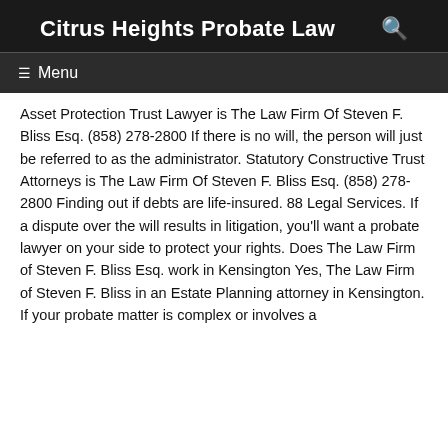Citrus Heights Probate Law
Asset Protection Trust Lawyer is The Law Firm Of Steven F. Bliss Esq. (858) 278-2800 If there is no will, the person will just be referred to as the administrator. Statutory Constructive Trust Attorneys is The Law Firm Of Steven F. Bliss Esq. (858) 278-2800 Finding out if debts are life-insured. 88 Legal Services. If a dispute over the will results in litigation, you'll want a probate lawyer on your side to protect your rights. Does The Law Firm of Steven F. Bliss Esq. work in Kensington Yes, The Law Firm of Steven F. Bliss in an Estate Planning attorney in Kensington. If your probate matter is complex or involves a